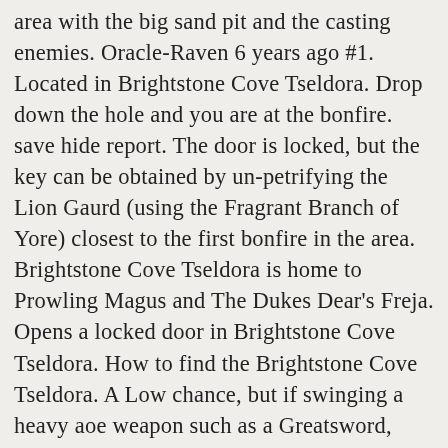area with the big sand pit and the casting enemies. Oracle-Raven 6 years ago #1. Located in Brightstone Cove Tseldora. Drop down the hole and you are at the bonfire. save hide report. The door is locked, but the key can be obtained by un-petrifying the Lion Gaurd (using the Fragrant Branch of Yore) closest to the first bonfire in the area. Brightstone Cove Tseldora is home to Prowling Magus and The Dukes Dear's Freja. Opens a locked door in Brightstone Cove Tseldora. How to find the Brightstone Cove Tseldora. A Low chance, but if swinging a heavy aoe weapon such as a Greatsword, watch your swings. A big knight enemy will drop down, either kill him or quickly do this next part. After there it sent me to some ritual area and the door in the area was closed had to return to Majula. 1 Description 2 Lore 3 Locations 4 Strategy 5 Summoning 6 Attacks 7 Defenses 8 Drops 9 Notes 10 Gallery 11 Videos 12 Music The Duke's Dear Freja is a gigantic two-headed spider fought in Brightstone Cove Tseldora. If you do not attack either, the survivor will regard you as if you did not help at all. The body on the first beam